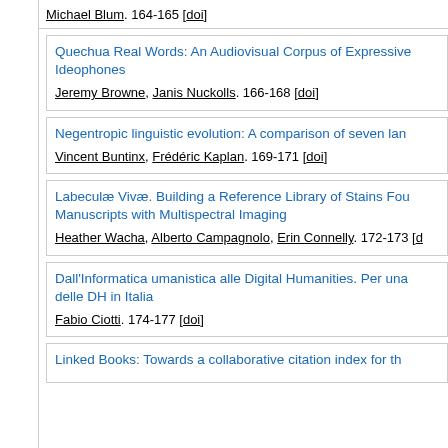Michael Blum. 164-165 [doi]
Quechua Real Words: An Audiovisual Corpus of Expressive Ideophones
Jeremy Browne, Janis Nuckolls. 166-168 [doi]
Negentropic linguistic evolution: A comparison of seven lan
Vincent Buntinx, Frédéric Kaplan. 169-171 [doi]
Labeculæ Vivæ. Building a Reference Library of Stains Fou Manuscripts with Multispectral Imaging
Heather Wacha, Alberto Campagnolo, Erin Connelly. 172-173 [d
Dall'Informatica umanistica alle Digital Humanities. Per una delle DH in Italia
Fabio Ciotti. 174-177 [doi]
Linked Books: Towards a collaborative citation index for th